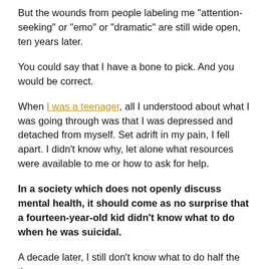But the wounds from people labeling me "attention-seeking" or "emo" or "dramatic" are still wide open, ten years later.
You could say that I have a bone to pick. And you would be correct.
When I was a teenager, all I understood about what I was going through was that I was depressed and detached from myself. Set adrift in my pain, I fell apart. I didn't know why, let alone what resources were available to me or how to ask for help.
In a society which does not openly discuss mental health, it should come as no surprise that a fourteen-year-old kid didn't know what to do when he was suicidal.
A decade later, I still don't know what to do half the time,